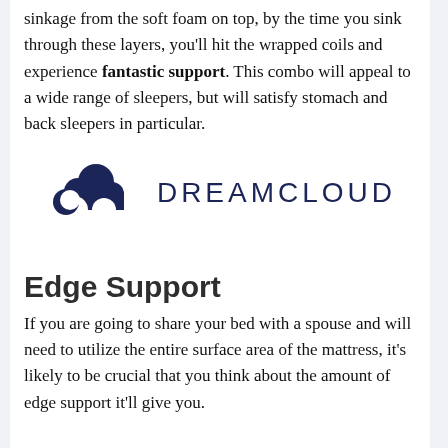sinkage from the soft foam on top, by the time you sink through these layers, you'll hit the wrapped coils and experience fantastic support. This combo will appeal to a wide range of sleepers, but will satisfy stomach and back sleepers in particular.
[Figure (logo): DreamCloud logo: dark navy cloud icon on the left and the text DREAMCLOUD in wide-spaced capital letters on the right]
Edge Support
If you are going to share your bed with a spouse and will need to utilize the entire surface area of the mattress, it's likely to be crucial that you think about the amount of edge support it'll give you.